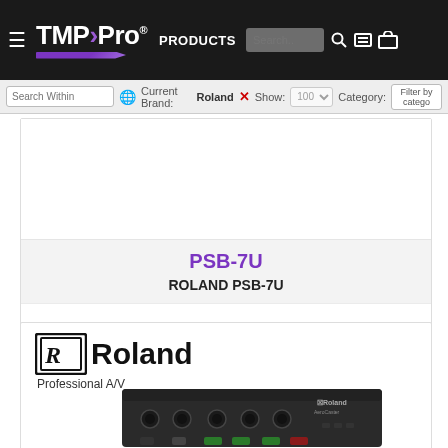TMP Pro — PRODUCTS — Search — Roland — Show: 100 — Category: Filter by category
Search Within | Current Brand: Roland ✕ Show: 100 Category: Filter by category
PSB-7U
ROLAND PSB-7U
INV#259121
[Figure (logo): Roland Professional A/V logo with stylized R in a rectangle and Roland wordmark]
[Figure (photo): Roland AeroCaster or similar audio mixer device, dark gray/black with knobs and buttons]